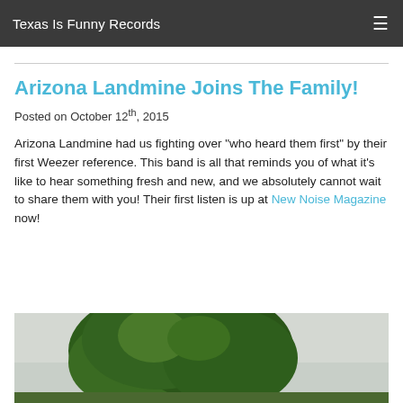Texas Is Funny Records
Arizona Landmine Joins The Family!
Posted on October 12th, 2015
Arizona Landmine had us fighting over "who heard them first" by their first Weezer reference. This band is all that reminds you of what it's like to hear something fresh and new, and we absolutely cannot wait to share them with you! Their first listen is up at New Noise Magazine now!
[Figure (photo): Outdoor photo showing a large green tree against a light grey sky]